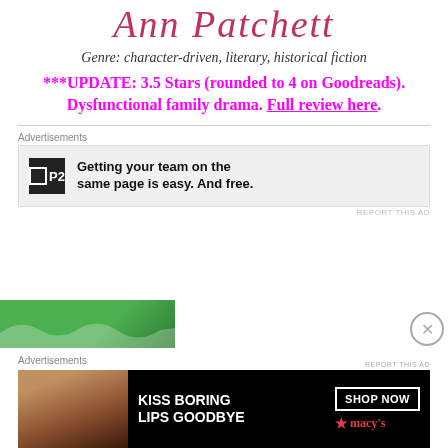Ann Patchett
Genre: character-driven, literary, historical fiction
***UPDATE: 3.5 Stars (rounded to 4 on Goodreads). Dysfunctional family drama. Full review here.
Advertisements
[Figure (screenshot): P2 advertisement: Getting your team on the same page is easy. And free.]
REPORT THIS AD
[Figure (photo): Green background image, partially visible]
Advertisements
[Figure (screenshot): Macy's advertisement: KISS BORING LIPS GOODBYE with SHOP NOW button and Macy's logo with star]